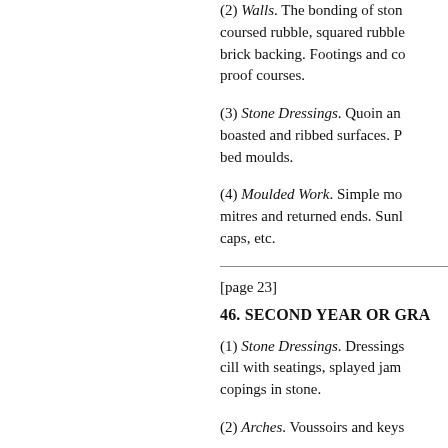(2) Walls. The bonding of stone walling: coursed rubble, squared rubble, with brick backing. Footings and damp-proof courses.
(3) Stone Dressings. Quoin and other boasted and ribbed surfaces. Penny bed moulds.
(4) Moulded Work. Simple mouldings, mitres and returned ends. Sunken caps, etc.
[page 23]
46. SECOND YEAR OR GRA
(1) Stone Dressings. Dressings with cill with seatings, splayed jambs, copings in stone.
(2) Arches. Voussoirs and keys
(3) Stairs. Overhanging spand